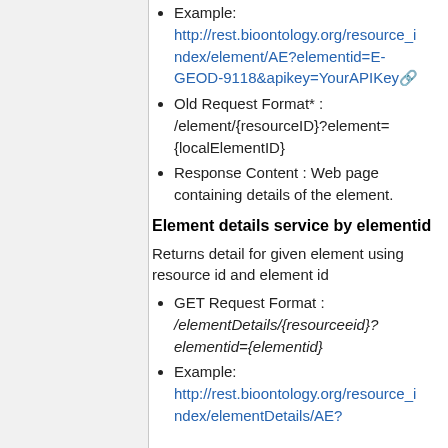Example: http://rest.bioontology.org/resource_index/element/AE?elementid=E-GEOD-9118&apikey=YourAPIKey
Old Request Format* : /element/{resourceID}?element={localElementID}
Response Content : Web page containing details of the element.
Element details service by elementid
Returns detail for given element using resource id and element id
GET Request Format : /elementDetails/{resourceid}?elementid={elementid}
Example: http://rest.bioontology.org/resource_index/elementDetails/AE?